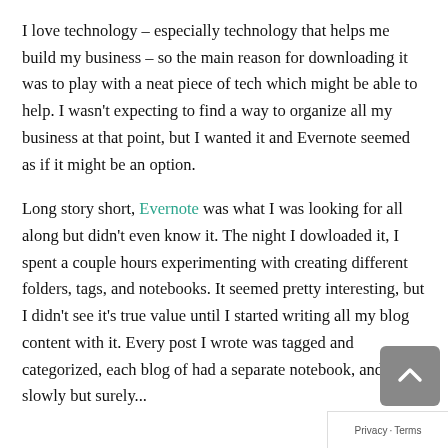I love technology – especially technology that helps me build my business – so the main reason for downloading it was to play with a neat piece of tech which might be able to help. I wasn't expecting to find a way to organize all my business at that point, but I wanted it and Evernote seemed as if it might be an option.
Long story short, Evernote was what I was looking for all along but didn't even know it. The night I dowloaded it, I spent a couple hours experimenting with creating different folders, tags, and notebooks. It seemed pretty interesting, but I didn't see it's true value until I started writing all my blog content with it. Every post I wrote was tagged and categorized, each blog of had a separate notebook, and slowly but surely...